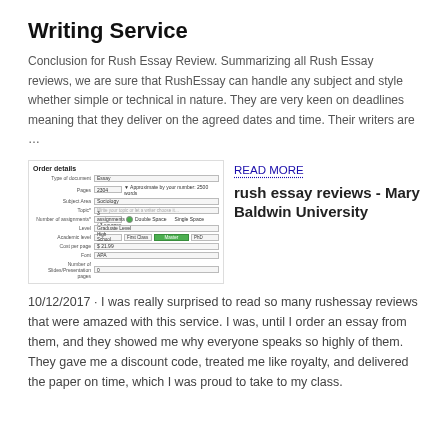Writing Service
Conclusion for Rush Essay Review. Summarizing all Rush Essay reviews, we are sure that RushEssay can handle any subject and style whether simple or technical in nature. They are very keen on deadlines meaning that they deliver on the agreed dates and time. Their writers are …
[Figure (screenshot): Screenshot of an order details form with fields for type of document, pages, subject area, topic, number of assignments, level, academic level with high school/first class/master/PhD buttons, cost per page, font, and number of slides/presentation pages.]
READ MORE
rush essay reviews - Mary Baldwin University
10/12/2017 · I was really surprised to read so many rushessay reviews that were amazed with this service. I was, until I order an essay from them, and they showed me why everyone speaks so highly of them. They gave me a discount code, treated me like royalty, and delivered the paper on time, which I was proud to take to my class.